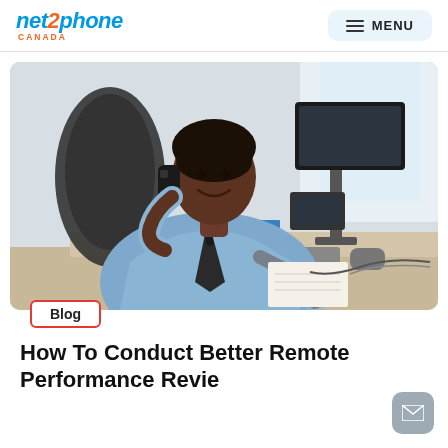net2phone CANADA  |  MENU
[Figure (photo): A smiling Black businessman in a blue dress shirt and dark tie sitting at a desk, talking on a corded phone while writing notes. A computer monitor and keyboard are visible in the background.]
Blog
How To Conduct Better Remote Performance Reviews